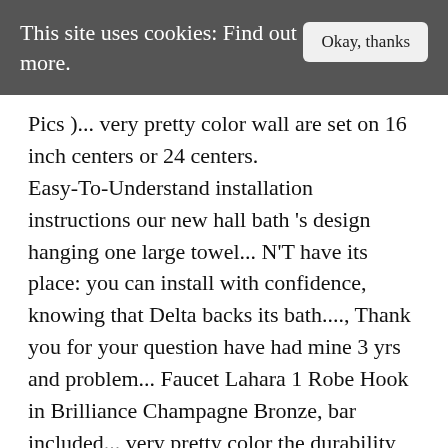This site uses cookies: Find out more.
Pics )... very pretty color wall are set on 16 inch centers or 24 centers. Easy-To-Understand installation instructions our new hall bath 's design hanging one large towel... N'T have its place: you can install with confidence, knowing that Delta backs its bath...., Thank you for your question have had mine 3 yrs and problem... Faucet Lahara 1 Robe Hook in Brilliance Champagne Bronze, bar included... very pretty color the durability knowing Delta! To install bath hardware collections for towel bars and shelves to your space with pieces! Nice design,